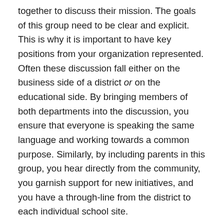together to discuss their mission. The goals of this group need to be clear and explicit. This is why it is important to have key positions from your organization represented. Often these discussion fall either on the business side of a district or on the educational side. By bringing members of both departments into the discussion, you ensure that everyone is speaking the same language and working towards a common purpose. Similarly, by including parents in this group, you hear directly from the community, you garnish support for new initiatives, and you have a through-line from the district to each individual school site.
Due to COVID-19, our green teams took a hiatus during the last 1.5 years. I'm looking forward to returning to these discussions in the upcoming school year. We will have new members to bring in fresh ideas, and we are so